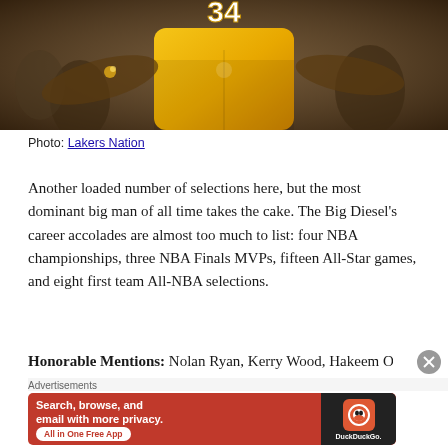[Figure (photo): Basketball player wearing a yellow jersey with number 34, viewed from behind, in a crowded arena. Likely Shaquille O'Neal in a Los Angeles Lakers uniform.]
Photo: Lakers Nation
Another loaded number of selections here, but the most dominant big man of all time takes the cake. The Big Diesel’s career accolades are almost too much to list: four NBA championships, three NBA Finals MVPs, fifteen All-Star games, and eight first team All-NBA selections.
Honorable Mentions: Nolan Ryan, Kerry Wood, Hakeem Olajuwon,
[Figure (screenshot): DuckDuckGo advertisement banner with orange/red background. Text reads: Search, browse, and email with more privacy. All in One Free App. Shows a smartphone with the DuckDuckGo logo.]